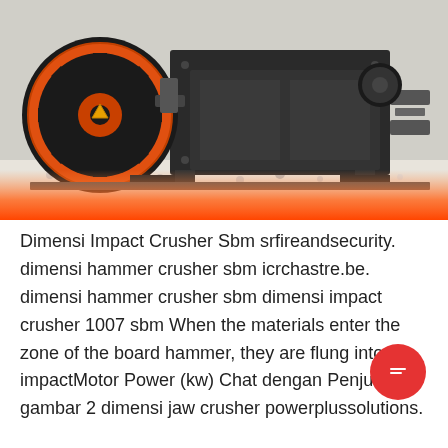[Figure (photo): Jaw crusher machine with orange flywheel and black body, sitting on gravel/white crushed stone surface, with orange gradient bar at bottom of image area]
Dimensi Impact Crusher Sbm srfireandsecurity. dimensi hammer crusher sbm icrchastre.be. dimensi hammer crusher sbm dimensi impact crusher 1007 sbm When the materials enter the zone of the board hammer, they are flung into the impactMotor Power (kw) Chat dengan Penjualan gambar 2 dimensi jaw crusher powerplussolutions.